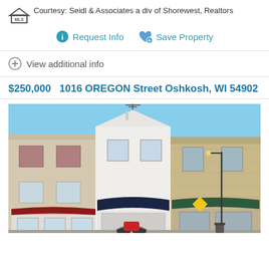Courtesy: Seidl & Associates a div of Shorewest, Realtors
Request Info   Save Property
View additional info
$250,000   1016 OREGON Street Oshkosh, WI 54902
[Figure (photo): Street-level exterior photo of commercial buildings on Oregon Street in Oshkosh, WI. Three storefronts visible: left is a multi-story building with maroon awning, center is a white two-story building with dark navy awning, right is a brick building. A motorcycle is parked in front. Clear blue sky.]